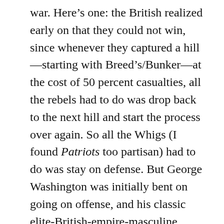war. Here's one: the British realized early on that they could not win, since whenever they captured a hill—starting with Breed's/Bunker—at the cost of 50 percent casualties, all the rebels had to do was drop back to the next hill and start the process over again. So all the Whigs (I found Patriots too partisan) had to do was stay on defense. But George Washington was initially bent on going on offense, and his classic elite-British-empire-masculine aggressiveness several times nearly ended in disaster. But he learned from his mistakes, and while he devised nearly a dozen plans to drive the British from their beachhead in Manhattan...